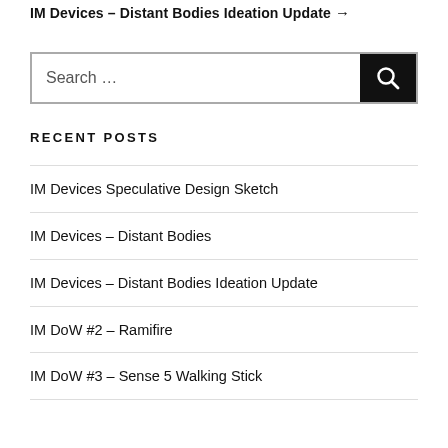IM Devices – Distant Bodies Ideation Update →
Search …
RECENT POSTS
IM Devices Speculative Design Sketch
IM Devices – Distant Bodies
IM Devices – Distant Bodies Ideation Update
IM DoW #2 – Ramifire
IM DoW #3 – Sense 5 Walking Stick